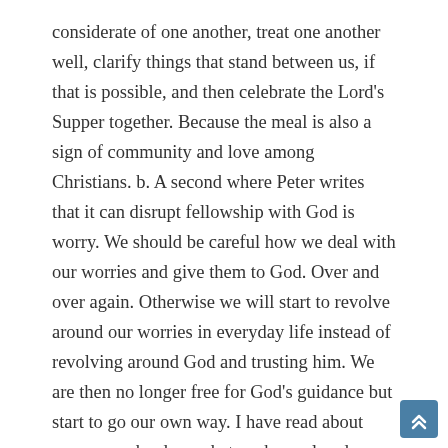considerate of one another, treat one another well, clarify things that stand between us, if that is possible, and then celebrate the Lord's Supper together. Because the meal is also a sign of community and love among Christians. b. A second where Peter writes that it can disrupt fellowship with God is worry. We should be careful how we deal with our worries and give them to God. Over and over again. Otherwise we will start to revolve around our worries in everyday life instead of revolving around God and trusting him. We are then no longer free for God's guidance but start to go our own way. I have read about someone who does what we have already done symbolically in the service at home, namely to take a stone for a care and to put it in a special place where he has put a cross. If the worry is gone, he also takes the stone away again. And so he says that he will be relieved, because now it is no longer he but Jesus who bears these worries and takes care of them. c. And finally we should be vigilant and prudent and take action where we find that our relationship with God is threatened. It can be external circumstances, pressure, persecution. It can just as well be a sin that is